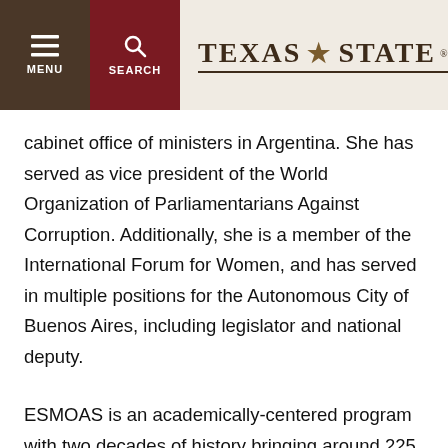[Figure (logo): Texas State University website header with menu, search buttons and Texas State logo]
cabinet office of ministers in Argentina. She has served as vice president of the World Organization of Parliamentarians Against Corruption. Additionally, she is a member of the International Forum for Women, and has served in multiple positions for the Autonomous City of Buenos Aires, including legislator and national deputy.
ESMOAS is an academically-centered program with two decades of history bringing around 225 of the